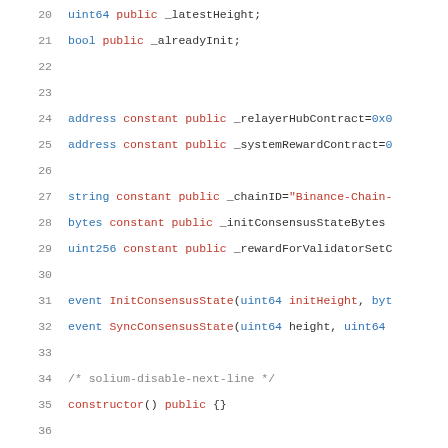[Figure (screenshot): Solidity smart contract source code snippet showing variable declarations, events, constructor, and modifier definitions, lines 20-42]